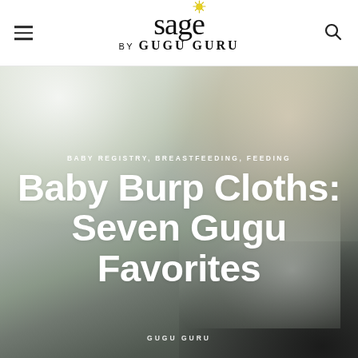[Figure (logo): Sage by Gugu Guru logo with sun/star burst over the 'e' in Sage]
[Figure (photo): Hero image of a woman holding a baby, soft light background, mother smiling, overlaid with title text]
BABY REGISTRY, BREASTFEEDING, FEEDING
Baby Burp Cloths: Seven Gugu Favorites
GUGU GURU